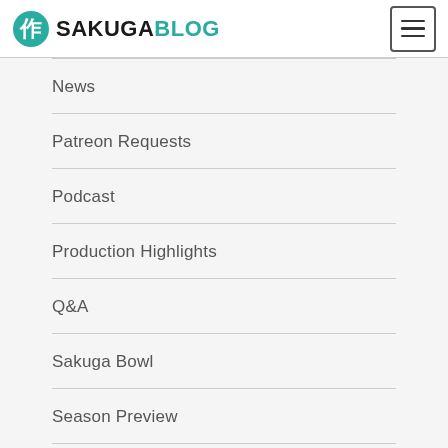SAKUGABLOG
News
Patreon Requests
Podcast
Production Highlights
Q&A
Sakuga Bowl
Season Preview
Site News
Staff Rundown
Translation